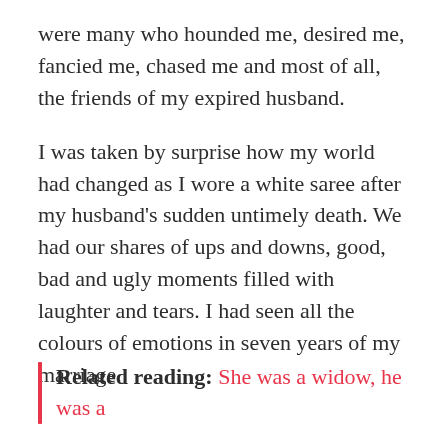were many who hounded me, desired me, fancied me, chased me and most of all, the friends of my expired husband.
I was taken by surprise how my world had changed as I wore a white saree after my husband's sudden untimely death. We had our shares of ups and downs, good, bad and ugly moments filled with laughter and tears. I had seen all the colours of emotions in seven years of my marriage.
Related reading: She was a widow, he was a